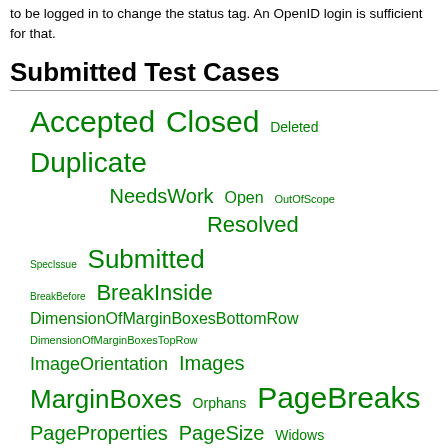to be logged in to change the status tag. An OpenID login is sufficient for that.
Submitted Test Cases
[Figure (infographic): Tag cloud of test case statuses and groups in green, with varying font sizes. Status tags: Accepted, Closed, Deleted, Duplicate, NeedsWork, Open, OutOfScope, Resolved, SpecIssue, Submitted. Group tags: BreakBefore, BreakInside, DimensionOfMarginBoxesBottomRow, DimensionOfMarginBoxesTopRow, ImageOrientation, Images, MarginBoxes, Orphans, PageBreaks, PageProperties, PageSize, Widows.]
Filtered by status=Submitted & group=DimensionOfMarginBoxesTopRow
Show all (remove filter/sort)
| Submission | Status | Authors | Groups |
| --- | --- | --- | --- |
| CSS Test: |  |  | Rev1390, |